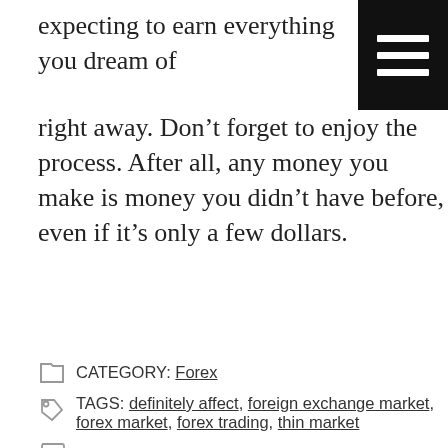expecting to earn everything you dream of right away. Don’t forget to enjoy the process. After all, any money you make is money you didn’t have before, even if it’s only a few dollars.
CATEGORY: Forex
TAGS: definitely affect, foreign exchange market, forex market, forex trading, thin market
No Comments »